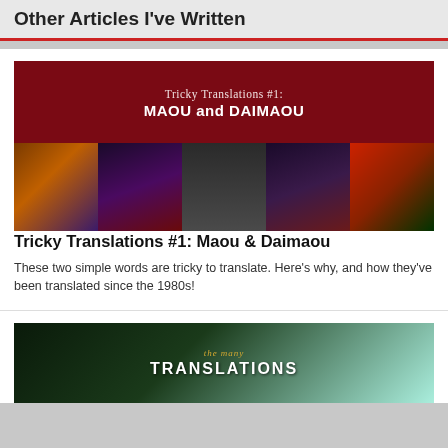Other Articles I've Written
[Figure (illustration): Article card image for 'Tricky Translations #1: MAOU and DAIMAOU' showing a dark red banner with title text above a collage of five fantasy/game villain characters]
Tricky Translations #1: Maou & Daimaou
These two simple words are tricky to translate. Here's why, and how they've been translated since the 1980s!
[Figure (illustration): Partial article card image for a second article showing a forest/jungle scene with text 'the many TRANSLATIONS']